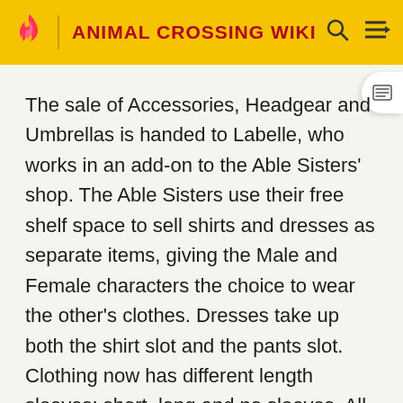ANIMAL CROSSING WIKI
The sale of Accessories, Headgear and Umbrellas is handed to Labelle, who works in an add-on to the Able Sisters' shop. The Able Sisters use their free shelf space to sell shirts and dresses as separate items, giving the Male and Female characters the choice to wear the other's clothes. Dresses take up both the shirt slot and the pants slot. Clothing now has different length sleeves: short, long and no sleeves. All five of these options are added as Pro-Design options, while regular designs take the form of short-sleeved clothes with a shape based on the player's gender. The players pants/skirt can now be changed via the Shorts, Longs, and Skirts that the Able Sisters stock. All three are able to be worn by both